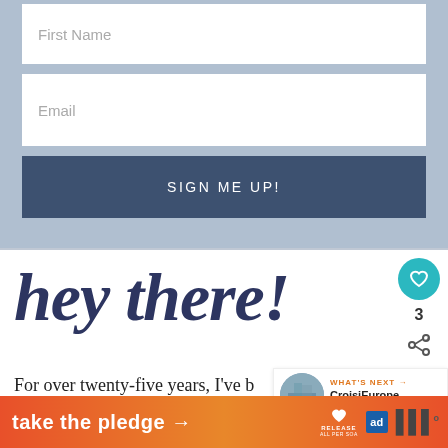First Name
Email
SIGN ME UP!
hey there!
For over twenty-five years, I've b traveling the world without flying, by
[Figure (infographic): WHAT'S NEXT arrow label with circular image thumbnail and text 'CroisiEurope Seine...']
[Figure (infographic): Orange/red gradient banner with 'take the pledge' text, arrow, heart icon, RELEASE logo, ad badge icon, and dots icon]